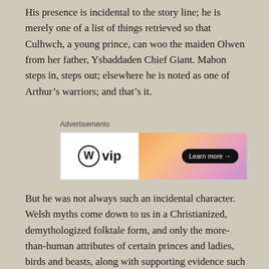His presence is incidental to the story line; he is merely one of a list of things retrieved so that Culhwch, a young prince, can woo the maiden Olwen from her father, Ysbaddaden Chief Giant. Mabon steps in, steps out; elsewhere he is noted as one of Arthur's warriors; and that's it.
[Figure (other): WordPress VIP advertisement banner with orange-to-purple gradient on the right side and a 'Learn more →' button]
But he was not always such an incidental character. Welsh myths come down to us in a Christianized, demythologized folktale form, and only the more-than-human attributes of certain princes and ladies, birds and beasts, along with supporting evidence such as inscriptions, show these figures' former status of divine. Welsh scholar Gwyn Jones in his introduction to his and Thomas Jones' Everyman version of The Mabinogion (1993 revision) wrote, "That such